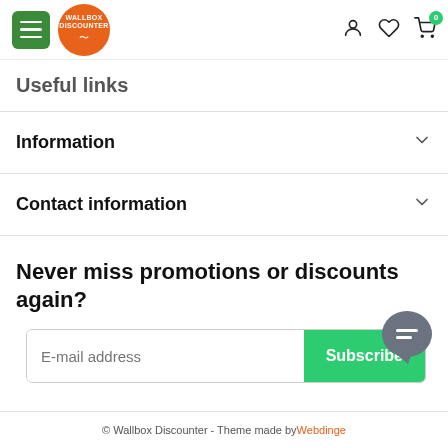Wallbox Discounter navigation header with hamburger menu, logo, account, wishlist and cart icons
Useful links
Information
Contact information
Never miss promotions or discounts again?
E-mail address [Subscribe]
© Wallbox Discounter - Theme made by Webdinge